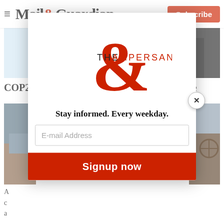Mail&Guardian — Subscribe
[Figure (photo): Partial photo showing blue squiggly line drawings and a hand in a black sleeve against a light background]
COP27: It's Africa's turn to take centre stage
[Figure (photo): Partial photo visible behind popup modal on left and right sides, showing outdoor coastal/environmental scene]
[Figure (illustration): The Ampersand newsletter modal popup with logo, tagline 'Stay informed. Every weekday.', email address input, and Signup now button]
A...c...a...